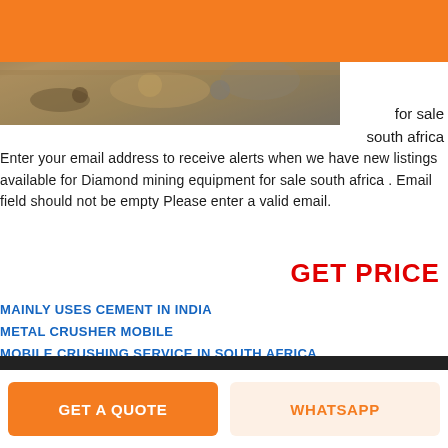Navigation header with hamburger menu
[Figure (photo): Mining/gravel site photo showing dirt, rocks and sand]
for sale south africa
Enter your email address to receive alerts when we have new listings available for Diamond mining equipment for sale south africa . Email field should not be empty Please enter a valid email.
GET PRICE
MAINLY USES CEMENT IN INDIA
METAL CRUSHER MOBILE
MOBILE CRUSHING SERVICE IN SOUTH AFRICA
JOBS FOR SALES ENGINEER CRUSHERS AND SCREENS MIDDLE EAST AND AFRICA
GOLD DETECTOR PRICE IN SOUTH AFRICA
GET A QUOTE
WHATSAPP